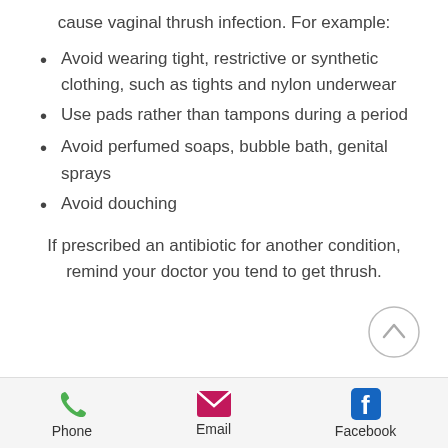cause vaginal thrush infection. For example:
Avoid wearing tight, restrictive or synthetic clothing, such as tights and nylon underwear
Use pads rather than tampons during a period
Avoid perfumed soaps, bubble bath, genital sprays
Avoid douching
If prescribed an antibiotic for another condition, remind your doctor you tend to get thrush.
Phone | Email | Facebook